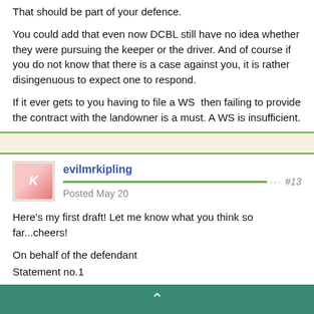That should be part of your defence.
You could add that even now DCBL still have no idea whether they were pursuing the keeper or the driver. And of course if you do not know that there is a case against you, it is rather disingenuous to expect one to respond.
If it ever gets to you having to file a WS  then failing to provide the contract with the landowner is a must. A WS is insufficient.
evilmrkipling
Posted May 20
#13
Here's my first draft! Let me know what you think so far...cheers!
On behalf of the defendant
Statement no.1